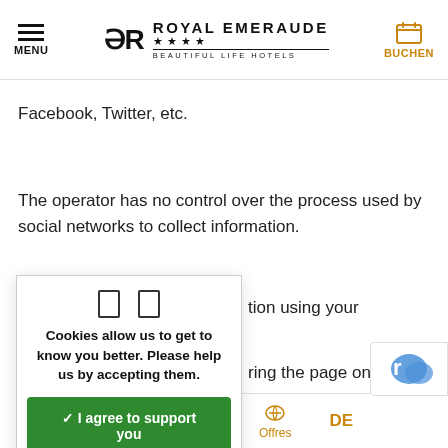MENU | ROYAL EMERAUDE **** BEAUTIFUL LIFE HOTELS | BUCHEN
Facebook, Twitter, etc.
The operator has no control over the process used by social networks to collect information.
tion using your
ring the page on
Cookies allow us to get to know you better. Please help us by accepting them.
✓ I agree to support you
✗ I refuse
Personalize
on Pinterest
on Linkedin
e on Instagram